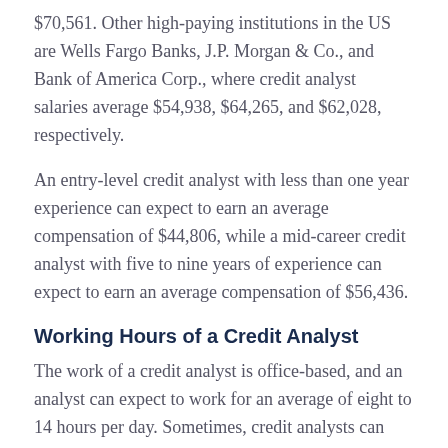$70,561. Other high-paying institutions in the US are Wells Fargo Banks, J.P. Morgan & Co., and Bank of America Corp., where credit analyst salaries average $54,938, $64,265, and $62,028, respectively.
An entry-level credit analyst with less than one year experience can expect to earn an average compensation of $44,806, while a mid-career credit analyst with five to nine years of experience can expect to earn an average compensation of $56,436.
Working Hours of a Credit Analyst
The work of a credit analyst is office-based, and an analyst can expect to work for an average of eight to 14 hours per day. Sometimes, credit analysts can work more hours into the night when deadlines are looming or when there is a critical situation that requires to be addressed by the credit team.